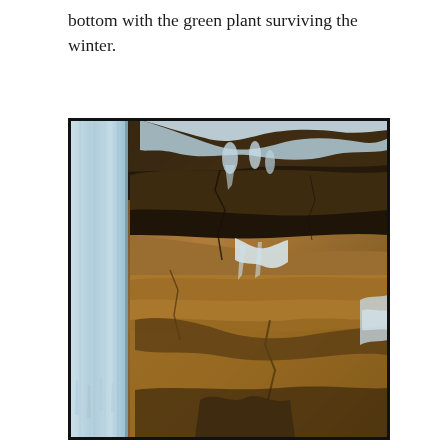bottom with the green plant surviving the winter.
[Figure (photo): A close-up photograph of a frozen waterfall or ice formation on the left side (thick vertical columns of blue-white ice and icicles) against rugged, layered rock formations on the right. The rock surface shows warm orange, brown and grey tones with cracks and ledges. White ice deposits cling to rock overhangs in the middle. The scene is a winter natural landscape detail.]